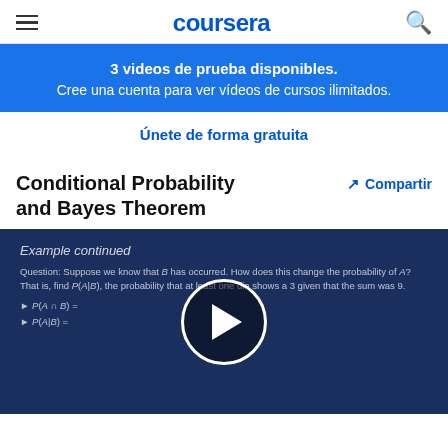coursera
3 videos de prueba disponibles.
Cree una cuenta para ver vídeos de cursos ilimitados.
Únete de forma gratuita
Conditional Probability and Bayes Theorem
Compartir
[Figure (screenshot): Video thumbnail showing a slide about conditional probability with 'Example continued' header, probability equations P(A∩B) and P(A|B), and a play button overlay on a dark blue background.]